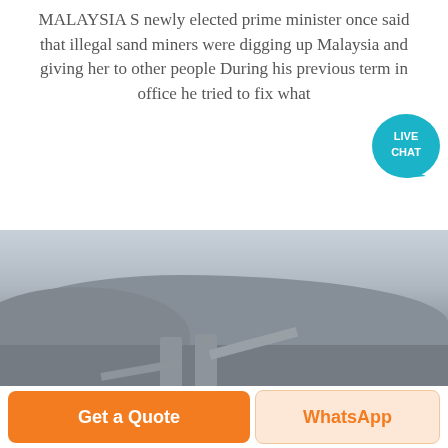MALAYSIA S newly elected prime minister once said that illegal sand miners were digging up Malaysia and giving her to other people During his previous term in office he tried to fix what
[Figure (illustration): Live Chat speech bubble icon with teal/cyan background and white text reading LIVE CHAT]
[Figure (photo): A hazy outdoor photo of a sand or quarry mining site with industrial machinery, silos, and conveyor belts in the foreground and misty hills in the background]
Get a Quote
WhatsApp